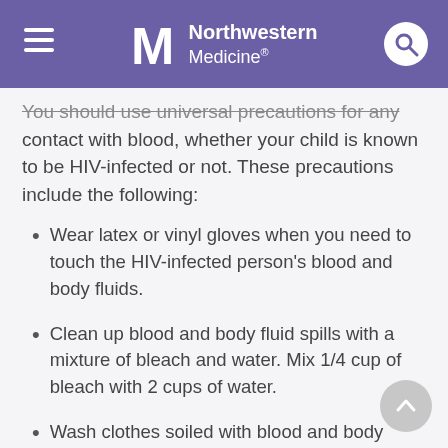Northwestern Medicine
You should use universal precautions for any contact with blood, whether your child is known to be HIV-infected or not. These precautions include the following:
Wear latex or vinyl gloves when you need to touch the HIV-infected person's blood and body fluids.
Clean up blood and body fluid spills with a mixture of bleach and water. Mix 1/4 cup of bleach with 2 cups of water.
Wash clothes soiled with blood and body fluids with soapy water. Bleach or nonchlorine bleach may be used to help get stains out. Items that cannot be washed